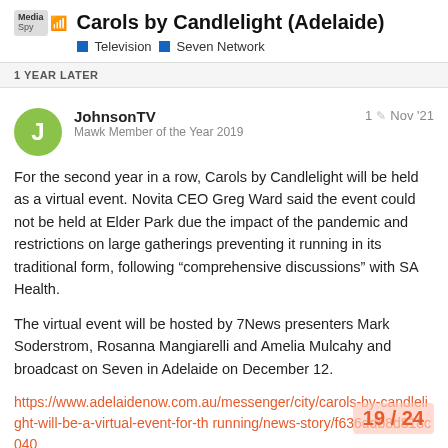Carols by Candlelight (Adelaide) — Television | Seven Network
1 YEAR LATER
JohnsonTV
Mawk Member of the Year 2019
1  Nov '21
For the second year in a row, Carols by Candlelight will be held as a virtual event. Novita CEO Greg Ward said the event could not be held at Elder Park due the impact of the pandemic and restrictions on large gatherings preventing it running in its traditional form, following “comprehensive discussions” with SA Health.
The virtual event will be hosted by 7News presenters Mark Soderstrom, Rosanna Mangiarelli and Amelia Mulcahy and broadcast on Seven in Adelaide on December 12.
https://www.adelaidenow.com.au/messenger/city/carols-by-candlelight-will-be-a-virtual-event-for-th running/news-story/f636ddb8d818c040
19 / 24